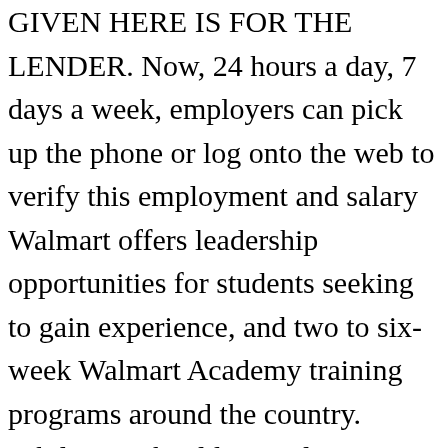GIVEN HERE IS FOR THE LENDER. Now, 24 hours a day, 7 days a week, employers can pick up the phone or log onto the web to verify this employment and salary Walmart offers leadership opportunities for students seeking to gain experience, and two to six-week Walmart Academy training programs around the country. While you should never lie or exaggerate, do present yourself in the best possible way. 9. Don't miss out on this great opportunity. Shop online at everyday low prices! Growth Trends for Related Jobs. The Me@Walmart App is available for all